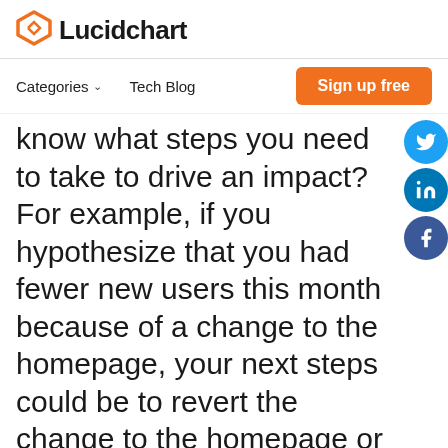[Figure (logo): Lucidchart logo with orange diamond icon and bold black text]
Categories ∨   Tech Blog   Sign up free
know what steps you need to take to drive an impact? For example, if you hypothesize that you had fewer new users this month because of a change to the homepage, your next steps could be to revert the change to the homepage or to run a test to better understand the full impact of
This website stores data such as cookies to enable essential site functionality, as well as marketing, personalization, and analytics. By remaining on this website you indicate your consent. Cookie Policy